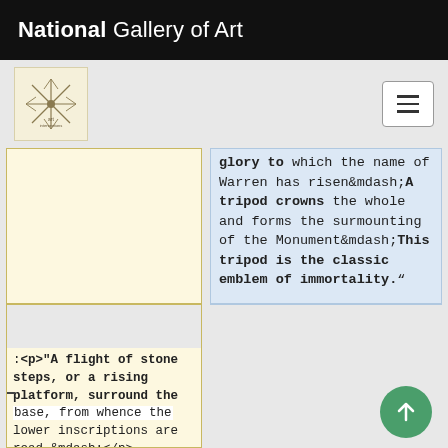National Gallery of Art
[Figure (logo): National Gallery of Art snowflake/starburst logo in beige box]
glory to which the name of Warren has risen&mdash;A tripod crowns the whole and forms the surmounting of the Monument&mdash;This tripod is the classic emblem of immortality.”
:<p>"A flight of stone steps, or a rising platform, surround the base, from whence the lower inscriptions are read.&mdash;</p>